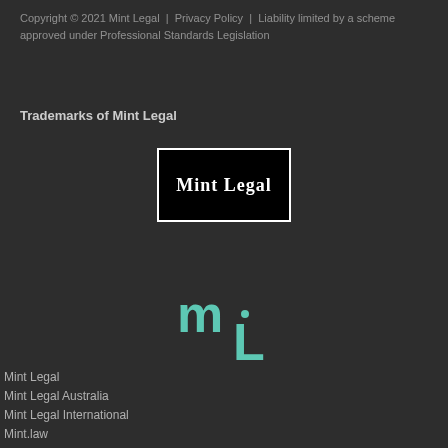Copyright © 2021 Mint Legal  |  Privacy Policy  |  Liability limited by a scheme approved under Professional Standards Legislation
Trademarks of Mint Legal
[Figure (logo): Mint Legal logo: black rectangle with white border containing white bold serif text 'Mint Legal']
[Figure (logo): Mint Legal monogram logo: stylized lowercase 'm' and 'L' characters in teal/mint color forming an mL monogram]
Mint Legal
Mint Legal Australia
Mint Legal International
Mint.law